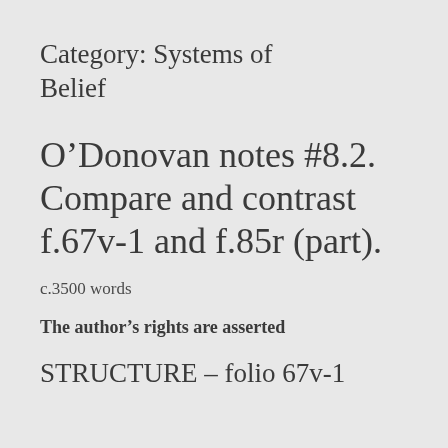Category: Systems of Belief
O’Donovan notes #8.2. Compare and contrast f.67v-1 and f.85r (part).
c.3500 words
The author’s rights are asserted
STRUCTURE – folio 67v-1